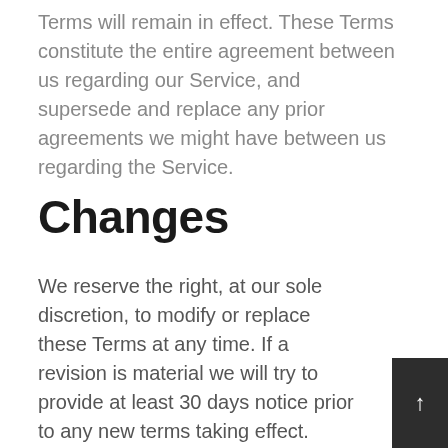Terms will remain in effect. These Terms constitute the entire agreement between us regarding our Service, and supersede and replace any prior agreements we might have between us regarding the Service.
Changes
We reserve the right, at our sole discretion, to modify or replace these Terms at any time. If a revision is material we will try to provide at least 30 days notice prior to any new terms taking effect. What constitutes a material change will be determined at our sole discretion.